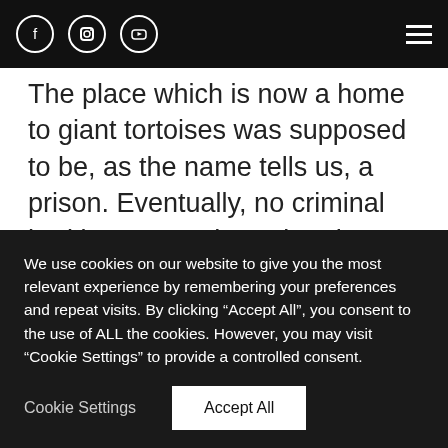Social media icons (Facebook, Instagram, YouTube) and hamburger menu
The place which is now a home to giant tortoises was supposed to be, as the name tells us, a prison. Eventually, no criminal had been sent there, but the island served as a quarantine area for people with yellow fever. In the 20th century, the British governor of Seychelles gave four Aldabra tortoises as a gift for the Zanzibar government. They bred quickly and had to be moved to the
We use cookies on our website to give you the most relevant experience by remembering your preferences and repeat visits. By clicking “Accept All”, you consent to the use of ALL the cookies. However, you may visit “Cookie Settings” to provide a controlled consent.